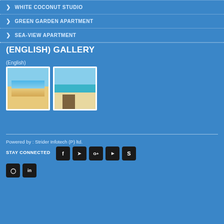WHITE COCONUT STUDIO
GREEN GARDEN APARTMENT
SEA-VIEW APARTMENT
(ENGLISH) GALLERY
(English)
[Figure (photo): Two beach thumbnail photos showing tropical beach scenes with umbrellas and clear water]
Powered by : Strider Infotech (P) ltd.
STAY CONNECTED
[Figure (infographic): Social media icons: Facebook, Twitter, Google+, YouTube, Skype, Instagram, LinkedIn]